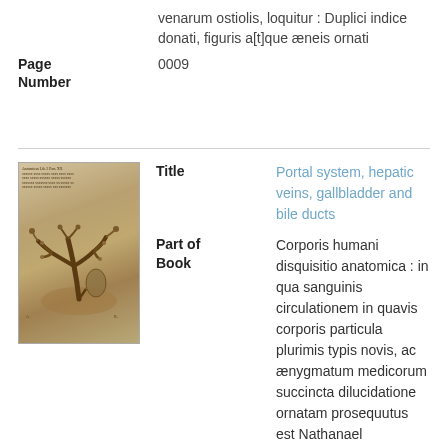venarum ostiolis, loquitur : Duplici indice donati, figuris a[t]que æneis ornati
Page Number: 0009
[Figure (photo): A historical anatomical illustration showing the portal system, hepatic veins, gallbladder and bile ducts. The image is from an old book page with Latin text at the top and a detailed engraved anatomical drawing below showing branching vascular structures.]
Title: Portal system, hepatic veins, gallbladder and bile ducts
Part of Book: Corporis humani disquisitio anatomica : in qua sanguinis circulationem in quavis corporis particula plurimis typis novis, ac ænygmatum medicorum succincta dilucidatione ornatam prosequutus est Nathanael Highmorus